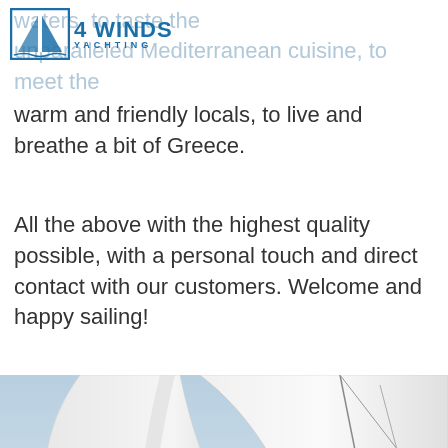[Figure (logo): 4 Winds Yachting logo with sail icon and blue text]
waters, to taste the unparalleled Mediterranean cuisine, to meet the warm and friendly locals, to live and breathe a bit of Greece.
All the above with the highest quality possible, with a personal touch and direct contact with our customers. Welcome and happy sailing!
[Figure (photo): Close-up photo of white sailing boat sails against a light blue sky]